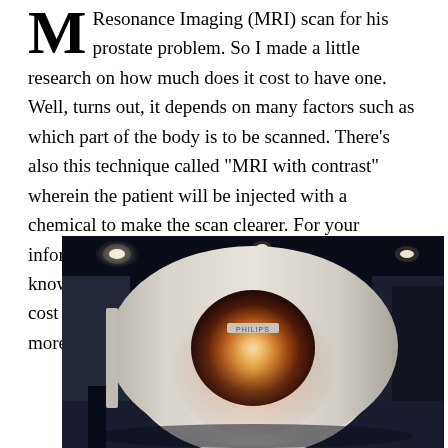M Resonance Imaging (MRI) scan for his prostate problem. So I made a little research on how much does it cost to have one. Well, turns out, it depends on many factors such as which part of the body is to be scanned. There's also this technique called "MRI with contrast" wherein the patient will be injected with a chemical to make the scan clearer. For your information this technique of adding contrast is know as Gadolinium Contrast Medium. It adds cost to the procedure but with more clarity, the more you can trust the diagnosis.
[Figure (photo): Photo of an MRI machine (Philips) in a darkened scanning room with ceiling lights and warm glow from the machine bore.]